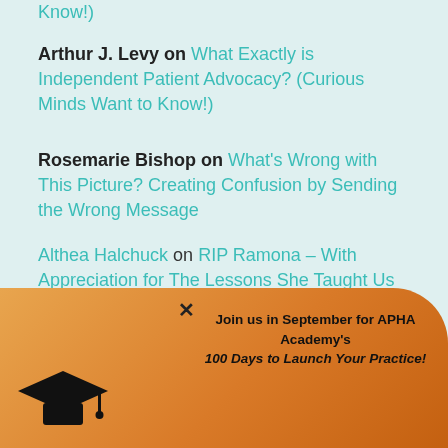Know!)
Arthur J. Levy on What Exactly is Independent Patient Advocacy? (Curious Minds Want to Know!)
Rosemarie Bishop on What's Wrong with This Picture? Creating Confusion by Sending the Wrong Message
Althea Halchuck on RIP Ramona – With Appreciation for The Lessons She Taught Us
N Criss on What Gator Head Windchimes Can Teach Us About a Healthy Advocacy Practice
Top Posts and Pages
[Figure (other): Orange popup overlay with graduation cap icon and text: Join us in September for APHA Academy's 100 Days to Launch Your Practice!]